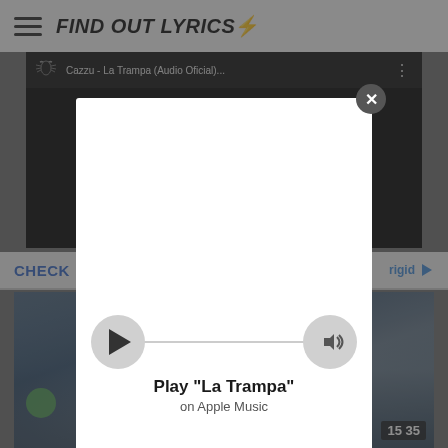FIND OUT LYRICS⚡
[Figure (screenshot): YouTube video thumbnail for 'Cazzu - La Trampa (Audio Oficial)...' with dark background and spider web graphic]
CHECK
[Figure (photo): Street scene photo with a person in an urban setting, green street sign visible, scoreboard showing 15 35]
[Figure (screenshot): Apple Music modal popup with Play button, progress bar, and volume icon. Shows 'Play "La Trampa" on Apple Music' with close X button]